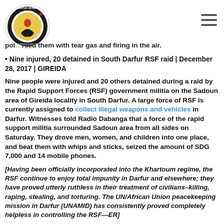Darfur Women Action Group logo and hamburger menu
pol…rsed them with tear gas and firing in the air.
• Nine injured, 20 detained in South Darfur RSF raid | December 28, 2017 | GIREIDA
Nine people were injured and 20 others detained during a raid by the Rapid Support Forces (RSF) government militia on the Sadoun area of Gireida locality in South Darfur. A large force of RSF is currently assigned to collect illegal weapons and vehicles in Darfur. Witnesses told Radio Dabanga that a force of the rapid support militia surrounded Sadoun area from all sides on Saturday. They drove men, women, and children into one place, and beat them with whips and sticks, seized the amount of SDG 7,000 and 14 mobile phones.
[Having been officially incorporated into the Khartoum regime, the RSF continue to enjoy total impunity in Darfur and elsewhere; they have proved utterly ruthless in their treatment of civilians–killing, raping, stealing, and torturing. The UN/African Union peacekeeping mission in Darfur (UNAMID) has consistently proved completely helpless in controlling the RSF—ER]
Among those detained include Ahmed Gamar, Jedo Mohamed Ahmed, Bashir Abakar, Abdelrahim Yagoub, El Ghali Haroun, Adam